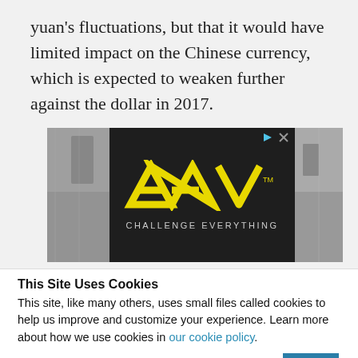yuan's fluctuations, but that it would have limited impact on the Chinese currency, which is expected to weaken further against the dollar in 2017.
[Figure (screenshot): Advertisement banner for AMV with yellow logo and tagline 'CHALLENGE EVERYTHING' on dark background]
This Site Uses Cookies
This site, like many others, uses small files called cookies to help us improve and customize your experience. Learn more about how we use cookies in our cookie policy.
Learn more about cookies   OK